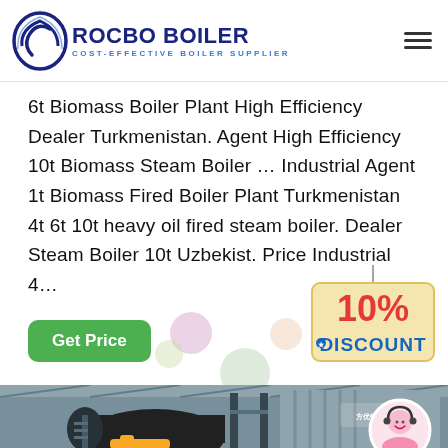[Figure (logo): Rocbo Boiler logo with circular icon and text 'ROCBO BOILER / COST-EFFECTIVE BOILER SUPPLIER']
6t Biomass Boiler Plant High Efficiency Dealer Turkmenistan. Agent High Efficiency 10t Biomass Steam Boiler … Industrial Agent 1t Biomass Fired Boiler Plant Turkmenistan 4t 6t 10t heavy oil fired steam boiler. Dealer Steam Boiler 10t Uzbekist. Price Industrial 4…
[Figure (screenshot): Green 'Get Price' button and decorative colored bubbles with a 10% DISCOUNT badge hanging on a string]
[Figure (photo): Industrial boiler plant interior showing large black cylindrical boiler with metal framework, yellow piping, and a customer service representative in a circular inset]